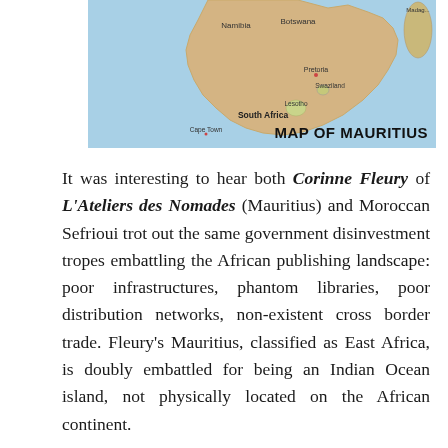[Figure (map): Map of southern Africa showing South Africa, Namibia, Botswana, Lesotho, Swaziland, Pretoria, Cape Town, with label 'MAP OF MAURITIUS' in bottom right]
It was interesting to hear both Corinne Fleury of L'Ateliers des Nomades (Mauritius) and Moroccan Sefrioui trot out the same government disinvestment tropes embattling the African publishing landscape: poor infrastructures, phantom libraries, poor distribution networks, non-existent cross border trade. Fleury's Mauritius, classified as East Africa, is doubly embattled for being an Indian Ocean island, not physically located on the African continent.
She complained that there was no national book policy and high transportation costs undermined the distribution of books to the Reunion Islands with which Mauritius partners. And because of